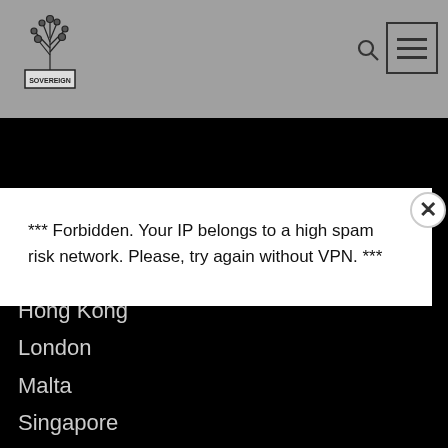Sovereign
*** Forbidden. Your IP belongs to a high spam risk network. Please, try again without VPN. ***
Hong Kong
London
Malta
Singapore